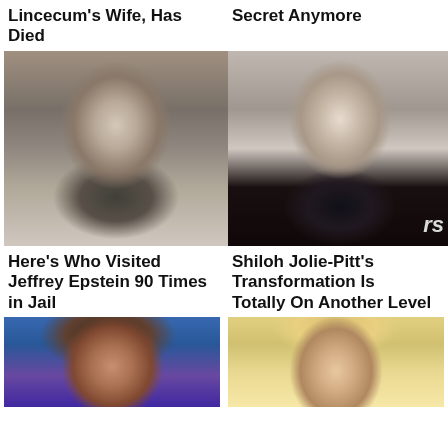Lincecum's Wife, Has Died
Secret Anymore
[Figure (photo): Older man with gray hair wearing dark suit, serious expression]
[Figure (photo): Young woman with brown hair up, blue eyes, wearing black]
Here's Who Visited Jeffrey Epstein 90 Times in Jail
Shiloh Jolie-Pitt's Transformation Is Totally On Another Level
[Figure (photo): Woman with short curly dark hair]
[Figure (photo): Blonde woman with light hair]